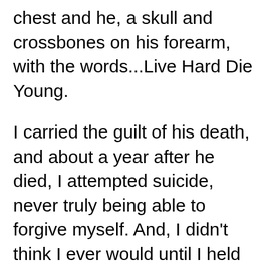chest and he, a skull and crossbones on his forearm, with the words...Live Hard Die Young.

I carried the guilt of his death, and about a year after he died, I attempted suicide, never truly being able to forgive myself. And, I didn't think I ever would until I held my twin daughters for the first time. That's when I figured out